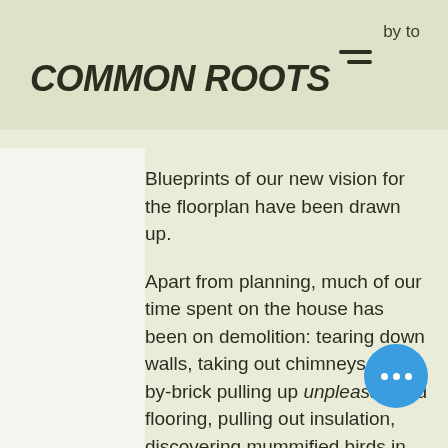COMMON ROOTS
by to
Blueprints of our new vision for the floorplan have been drawn up.
Apart from planning, much of our time spent on the house has been on demolition: tearing down walls, taking out chimneys, brick-by-brick pulling up unpleasant old flooring, pulling out insulation, discovering mummified birds in the walls, that sort of thing.
Since this is Common Roots' first house, we have been learning timeline as we go. We're excited working each day to make the